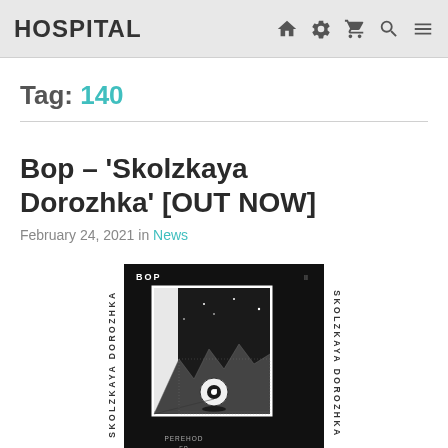HOSPITAL
Tag: 140
Bop – 'Skolzkaya Dorozhka' [OUT NOW]
February 24, 2021 in News
[Figure (illustration): Album cover art for Bop – Skolzkaya Dorozhka (Perehod EP). Black background with geometric mountain/landscape scene in a framed white box, featuring an eyeball-like sphere. Rotated text on left and right spine reading SKOLZKAYA DOROZHKA.]